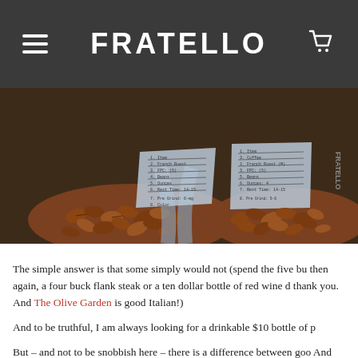FRATELLO
[Figure (photo): Close-up photo of roasted coffee beans spilling from small plastic bags on a dark surface, with handwritten tasting score sheets visible on the bags.]
The simple answer is that some simply would not (spend the five bu then again, a four buck flank steak or a ten dollar bottle of red wine d thank you. And The Olive Garden is good Italian!)
And to be truthful, I am always looking for a drinkable $10 bottle of p
But – and not to be snobbish here – there is a difference between goo And life is simply too short and too precious for coffee (or wine or foo
It starts, of course, with the bean. Today we are sampling (cupping, t different beans. They come from a single estate grower in Nicaragua. different varietals of Coffea arabica spread out over two different gro (the beans) are all different, each unique. And it's our job to pick ju